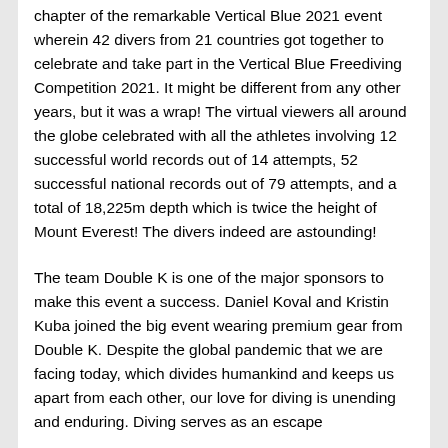chapter of the remarkable Vertical Blue 2021 event wherein 42 divers from 21 countries got together to celebrate and take part in the Vertical Blue Freediving Competition 2021. It might be different from any other years, but it was a wrap! The virtual viewers all around the globe celebrated with all the athletes involving 12 successful world records out of 14 attempts, 52 successful national records out of 79 attempts, and a total of 18,225m depth which is twice the height of Mount Everest! The divers indeed are astounding!
The team Double K is one of the major sponsors to make this event a success. Daniel Koval and Kristin Kuba joined the big event wearing premium gear from Double K. Despite the global pandemic that we are facing today, which divides humankind and keeps us apart from each other, our love for diving is unending and enduring. Diving serves as an escape